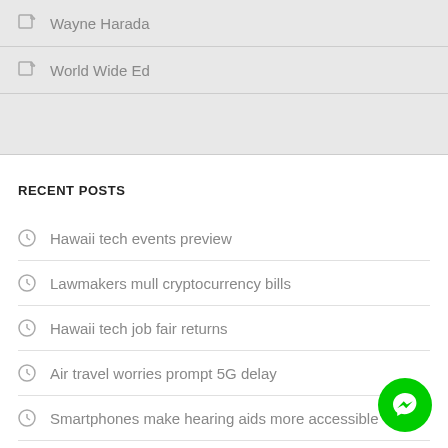Wayne Harada
World Wide Ed
RECENT POSTS
Hawaii tech events preview
Lawmakers mull cryptocurrency bills
Hawaii tech job fair returns
Air travel worries prompt 5G delay
Smartphones make hearing aids more accessible
[Figure (other): Green Messenger chat button in bottom right corner]